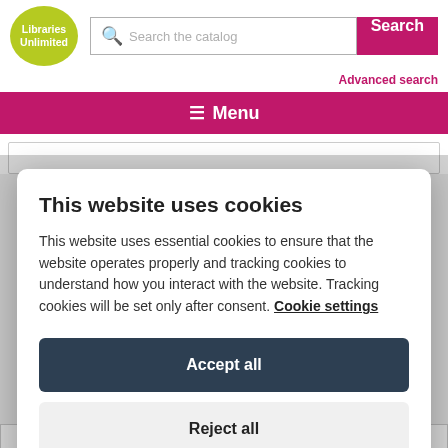[Figure (logo): Libraries Unlimited green circle logo with white text]
Search the catalog
Search
Advanced search
≡ Menu
This website uses cookies
This website uses essential cookies to ensure that the website operates properly and tracking cookies to understand how you interact with the website. Tracking cookies will be set only after consent. Cookie settings
Accept all
Reject all
Gadot, Armie Hammer, Letitia